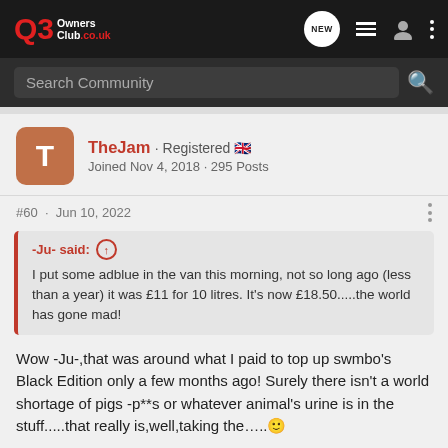Q3 Owners Club .co.uk
Search Community
TheJam · Registered 🇬🇧
Joined Nov 4, 2018 · 295 Posts
#60 · Jun 10, 2022
-Ju- said: ↑
I put some adblue in the van this morning, not so long ago (less than a year) it was £11 for 10 litres. It's now £18.50.....the world has gone mad!
Wow -Ju-,that was around what I paid to top up swmbo's Black Edition only a few months ago! Surely there isn't a world shortage of pigs -p**s or whatever animal's urine is in the stuff.....that really is,well,taking the…..🙂